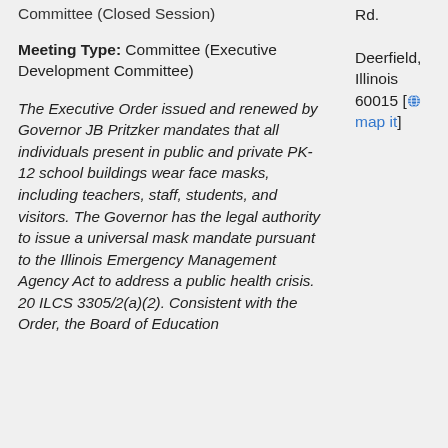Committee (Closed Session)
Rd.
Meeting Type: Committee (Executive Development Committee)
Deerfield, Illinois 60015 [map it]
The Executive Order issued and renewed by Governor JB Pritzker mandates that all individuals present in public and private PK-12 school buildings wear face masks, including teachers, staff, students, and visitors. The Governor has the legal authority to issue a universal mask mandate pursuant to the Illinois Emergency Management Agency Act to address a public health crisis. 20 ILCS 3305/2(a)(2). Consistent with the Order, the Board of Education